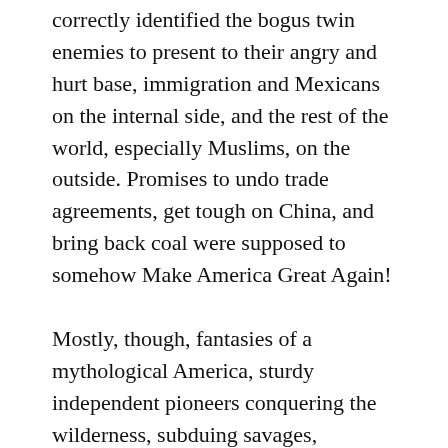correctly identified the bogus twin enemies to present to their angry and hurt base, immigration and Mexicans on the internal side, and the rest of the world, especially Muslims, on the outside. Promises to undo trade agreements, get tough on China, and bring back coal were supposed to somehow Make America Great Again!
Mostly, though, fantasies of a mythological America, sturdy independent pioneers conquering the wilderness, subduing savages, bringing to heel the wretched Mexicans, swirl in the heads of Trumps right-wing populist base. And Trump is more than willing to say anything, insult anyone, demean whole